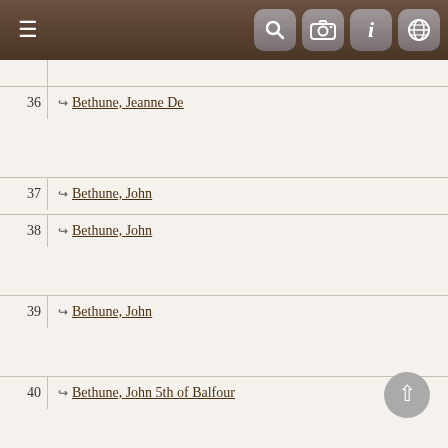Navigation bar with menu, search, camera, info, and globe icons
| # | Name |
| --- | --- |
| 36 | Bethune, Jeanne De |
| 37 | Bethune, John |
| 38 | Bethune, John |
| 39 | Bethune, John |
| 40 | Bethune, John 5th of Balfour |